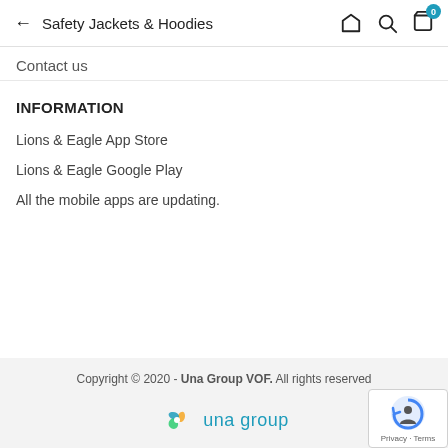Safety Jackets & Hoodies
Contact us
INFORMATION
Lions & Eagle App Store
Lions & Eagle Google Play
All the mobile apps are updating.
Copyright © 2020 - Una Group VOF. All rights reserved
[Figure (logo): Una Group logo with triskelion icon and 'una group' text in teal]